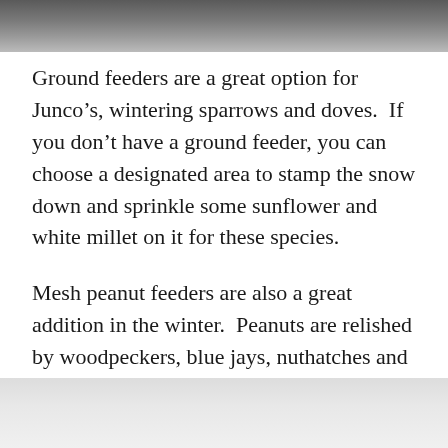[Figure (photo): Top portion of a photo, appears dark/grey tones, partial view]
Ground feeders are a great option for Junco’s, wintering sparrows and doves.  If you don’t have a ground feeder, you can choose a designated area to stamp the snow down and sprinkle some sunflower and white millet on it for these species.
Mesh peanut feeders are also a great addition in the winter.  Peanuts are relished by woodpeckers, blue jays, nuthatches and chickadees, and also contain the required calories.
[Figure (photo): Bottom portion of a photo, appears light/white tones, partial view]